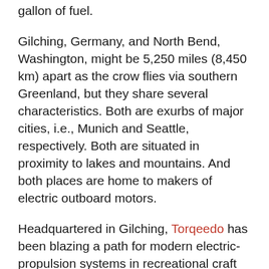gallon of fuel.
Gilching, Germany, and North Bend, Washington, might be 5,250 miles (8,450 km) apart as the crow flies via southern Greenland, but they share several characteristics. Both are exurbs of major cities, i.e., Munich and Seattle, respectively. Both are situated in proximity to lakes and mountains. And both places are home to makers of electric outboard motors.
Headquartered in Gilching, Torqeedo has been blazing a path for modern electric-propulsion systems in recreational craft for more than a decade. Today, with 200+ employees the company is now owned by Deutz, a large German industrial corporation.
North Bend is a whistle stop on I-90, on the west side of Snoqualmie Pass in the shadow of Mount Si, where Joe and Linda Groz, both in their 50s, hung out their shingle